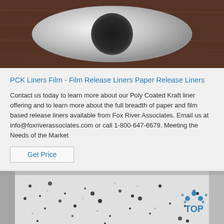[Figure (photo): Photo of a roll of film/liner material on a dark wooden surface, viewed from above showing the circular roll]
PCK Liners Film - Film Release Liners Paper Release Liners
Contact us today to learn more about our Poly Coated Kraft liner offering and to learn more about the full breadth of paper and film based release liners available from Fox River Associates. Email us at info@foxriverassociates.com or call 1-800-647-6679. Meeting the Needs of the Market
[Figure (photo): Photo of a granite or speckled stone/film material surface in grey with black flecks, with TOP logo watermark in lower right corner]